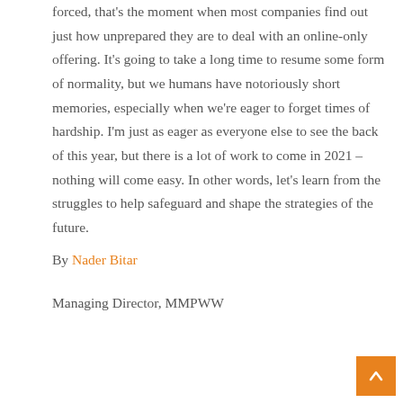forced, that's the moment when most companies find out just how unprepared they are to deal with an online-only offering. It's going to take a long time to resume some form of normality, but we humans have notoriously short memories, especially when we're eager to forget times of hardship. I'm just as eager as everyone else to see the back of this year, but there is a lot of work to come in 2021 – nothing will come easy. In other words, let's learn from the struggles to help safeguard and shape the strategies of the future.
By Nader Bitar
Managing Director, MMPWW